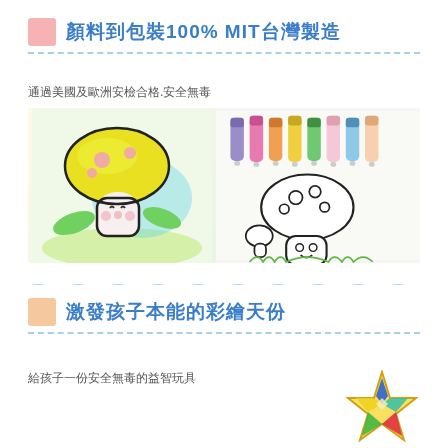顏料到包裝100% MIT台灣製造
通過美國及歐洲安檢合格.安全無毒
[Figure (photo): Two photos side by side: left shows a colorful painted mushroom character artwork; right shows paint tubes and a line-drawing mushroom character ready to be painted.]
激發孩子本能的彩繪天份
給孩子一份安全無毒的益智玩具
[Figure (illustration): Colorful star shape decoration made of triangular segments in multiple colors (blue, green, red, yellow, teal) with a golden outline.]